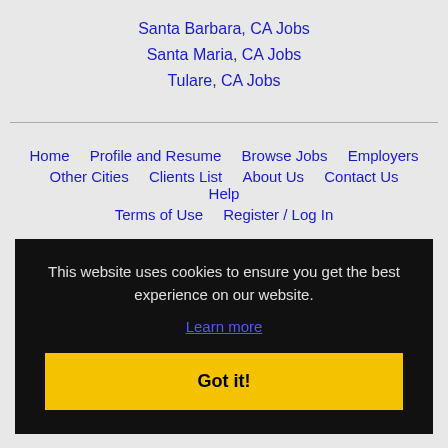Santa Barbara, CA Jobs
Santa Maria, CA Jobs
Tulare, CA Jobs
Home  Profile and Resume  Browse Jobs  Employers  Other Cities  Clients List  About Us  Contact Us  Help  Terms of Use  Register / Log In
This website uses cookies to ensure you get the best experience on our website.
Learn more
Got it!